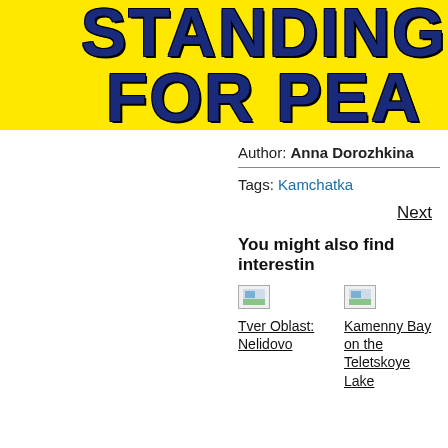[Figure (illustration): Yellow banner with large bold navy blue cracked/lightning text reading STANDING FOR PEA (partially cropped)]
Author: Anna Dorozhkina
Tags: Kamchatka
Next
You might also find interesting
[Figure (photo): Small thumbnail image placeholder]
Tver Oblast: Nelidovo
[Figure (photo): Small thumbnail image placeholder]
Kamenny Bay on the Teletskoye Lake